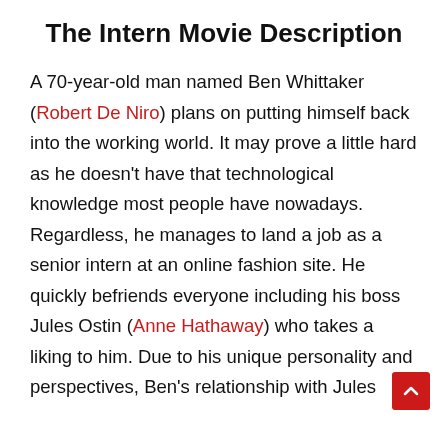The Intern Movie Description
A 70-year-old man named Ben Whittaker (Robert De Niro) plans on putting himself back into the working world. It may prove a little hard as he doesn't have that technological knowledge most people have nowadays. Regardless, he manages to land a job as a senior intern at an online fashion site. He quickly befriends everyone including his boss Jules Ostin (Anne Hathaway) who takes a liking to him. Due to his unique personality and perspectives, Ben's relationship with Jules